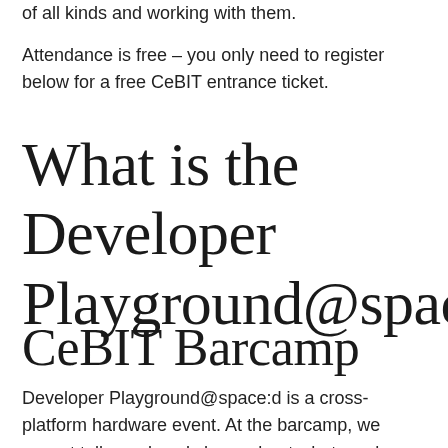of all kinds and working with them.
Attendance is free – you only need to register below for a free CeBIT entrance ticket.
What is the Developer Playground@space:?
CeBIT Barcamp
Developer Playground@space:d is a cross-platform hardware event. At the barcamp, we expect talks and workshops about what can be